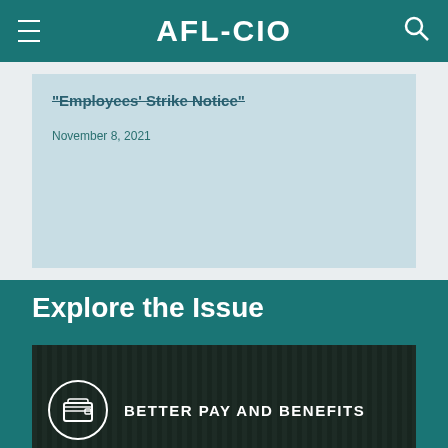AFL-CIO
Employees' Strike Notice
November 8, 2021
Explore the Issue
[Figure (photo): Better Pay and Benefits promotional card with wallet icon on dark industrial background]